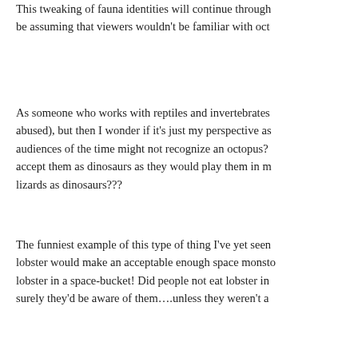This tweaking of fauna identities will continue through be assuming that viewers wouldn't be familiar with oct
As someone who works with reptiles and invertebrates abused), but then I wonder if it's just my perspective as audiences of the time might not recognize an octopus? accept them as dinosaurs as they would play them in m lizards as dinosaurs???
The funniest example of this type of thing I've yet seen lobster would make an acceptable enough space monsto lobster in a space-bucket! Did people not eat lobster in surely they'd be aware of them….unless they weren't a
★ Like
Reply
lyzmadness says: